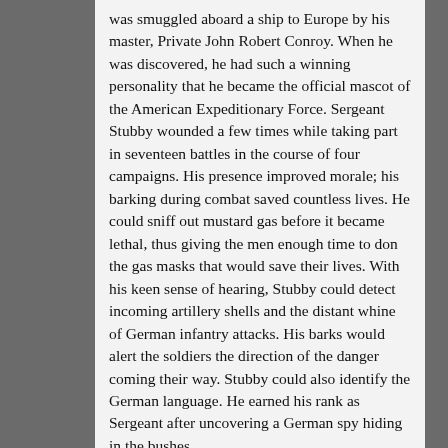was smuggled aboard a ship to Europe by his master, Private John Robert Conroy. When he was discovered, he had such a winning personality that he became the official mascot of the American Expeditionary Force. Sergeant Stubby wounded a few times while taking part in seventeen battles in the course of four campaigns. His presence improved morale; his barking during combat saved countless lives. He could sniff out mustard gas before it became lethal, thus giving the men enough time to don the gas masks that would save their lives. With his keen sense of hearing, Stubby could detect incoming artillery shells and the distant whine of German infantry attacks. His barks would alert the soldiers the direction of the danger coming their way. Stubby could also identify the German language. He earned his rank as Sergeant after uncovering a German spy hiding in the bushes.
In 1921, General “Black Jack” Pershing, the